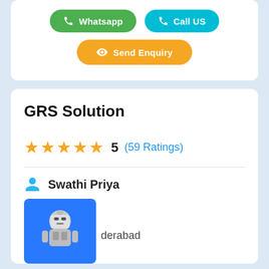[Figure (screenshot): Whatsapp and Call US buttons in green and cyan pill shapes]
[Figure (screenshot): Send Enquiry button in orange pill shape]
GRS Solution
5 (59 Ratings)
Swathi Priya
derabad
[Figure (photo): Avatar image of a robot character on blue background]